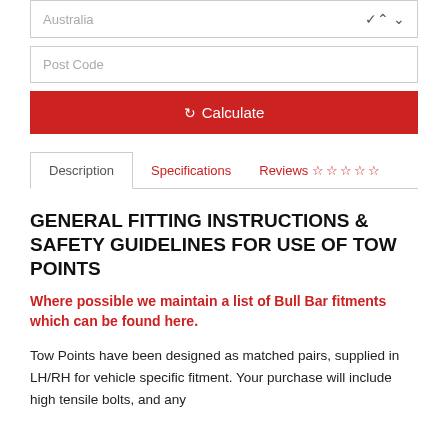[Figure (screenshot): Dropdown select box showing 'Australia' with a chevron icon, representing a country selector UI element]
[Figure (screenshot): Text input field with placeholder text 'Post Code']
[Figure (screenshot): Red button with recycle/refresh icon and text 'Calculate']
[Figure (screenshot): Tab navigation with 'Description' (active), 'Specifications', and 'Reviews' with 5 empty star icons]
GENERAL FITTING INSTRUCTIONS & SAFETY GUIDELINES FOR USE OF TOW POINTS
Where possible we maintain a list of Bull Bar fitments which can be found here.
Tow Points have been designed as matched pairs, supplied in LH/RH for vehicle specific fitment. Your purchase will include high tensile bolts, and any additional vehicle specific requirements that may be required.